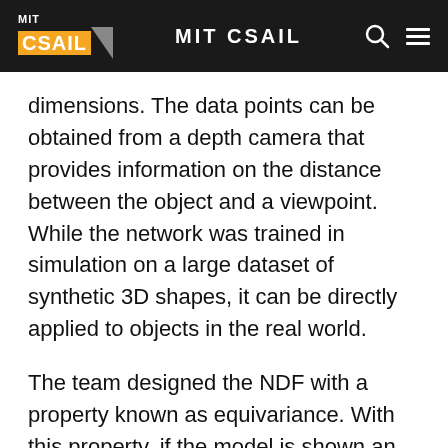MIT CSAIL
dimensions. The data points can be obtained from a depth camera that provides information on the distance between the object and a viewpoint. While the network was trained in simulation on a large dataset of synthetic 3D shapes, it can be directly applied to objects in the real world.
The team designed the NDF with a property known as equivariance. With this property, if the model is shown an image of an upright mug, and then shown an image of the same mug on its side, it understands that the second mug is the